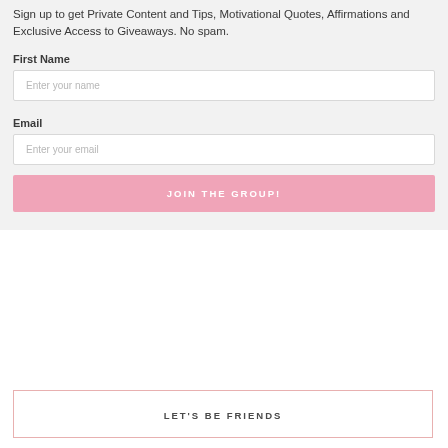Sign up to get Private Content and Tips, Motivational Quotes, Affirmations and Exclusive Access to Giveaways. No spam.
First Name
Enter your name
Email
Enter your email
JOIN THE GROUP!
LET'S BE FRIENDS